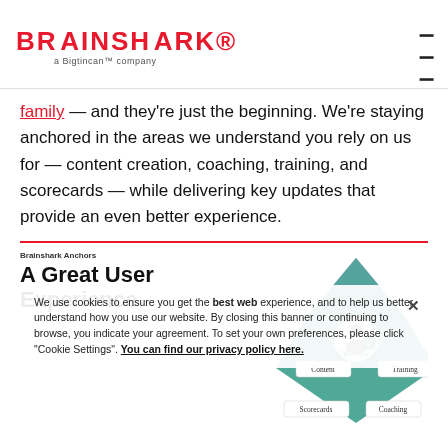BRAINSHARK a Bigtincan™ company
family — and they're just the beginning. We're staying anchored in the areas we understand you rely on us for — content creation, coaching, training, and scorecards — while delivering key updates that provide an even better experience.
[Figure (infographic): Brainshark Anchors diagram showing a diamond/arrow shape with sections: Content, Training, Readiness (center with person icon), Scorecards, Coaching. Overlaid with a cookie consent banner.]
We use cookies to ensure you get the best web experience, and to help us better understand how you use our website. By closing this banner or continuing to browse, you indicate your agreement. To set your own preferences, please click "Cookie Settings". You can find our privacy policy here.